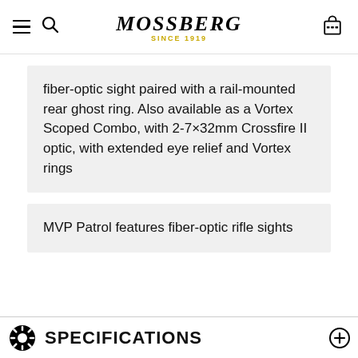Mossberg Since 1919
fiber-optic sight paired with a rail-mounted rear ghost ring. Also available as a Vortex Scoped Combo, with 2-7×32mm Crossfire II optic, with extended eye relief and Vortex rings
MVP Patrol features fiber-optic rifle sights
SPECIFICATIONS